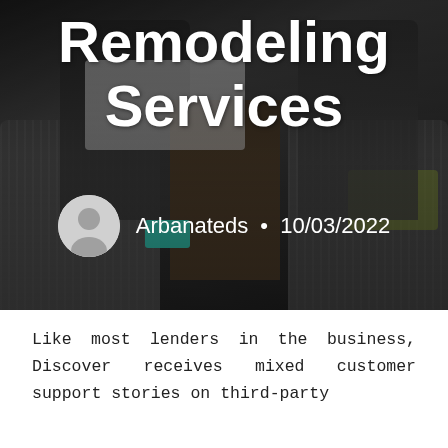[Figure (photo): Hero header image showing two people sitting on sofas with a laptop, darkened with overlay. Large white bold title text 'Remodeling Services' and author/date metadata overlaid.]
Remodeling Services
Arbanateds • 10/03/2022
Like most lenders in the business, Discover receives mixed customer support stories on third-party